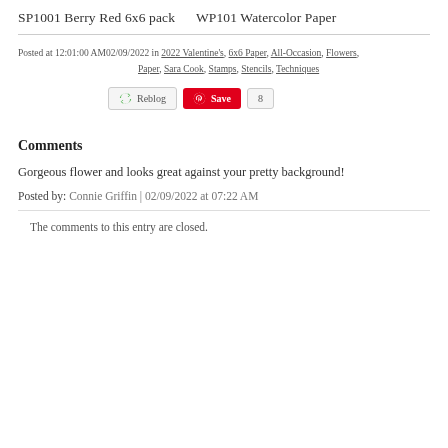SP1001 Berry Red 6x6 pack      WP101 Watercolor Paper
Posted at 12:01:00 AM02/09/2022 in 2022 Valentine's, 6x6 Paper, All-Occasion, Flowers, Paper, Sara Cook, Stamps, Stencils, Techniques
[Figure (other): Social sharing buttons: Reblog button, Pinterest Save button with count of 8]
Comments
Gorgeous flower and looks great against your pretty background!
Posted by: Connie Griffin | 02/09/2022 at 07:22 AM
The comments to this entry are closed.